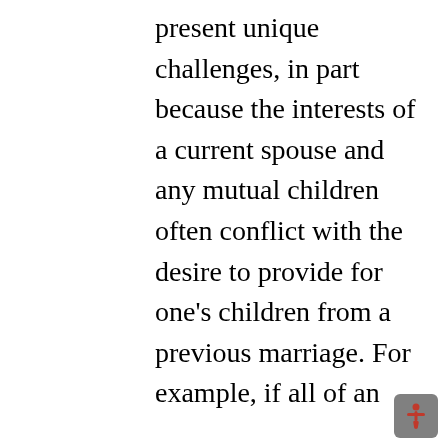present unique challenges, in part because the interests of a current spouse and any mutual children often conflict with the desire to provide for one's children from a previous marriage. For example, if all of an estate's assets are left to the new spouse, the children from a previous marriage may not be provided for in the manner the deceased spouse would have wanted. After all, there is no legal obligation to support stepchildren. Furthermore, the surviving spouse might, upon his or her death, leave all of the assets to his or her children, thereby excluding the children of the